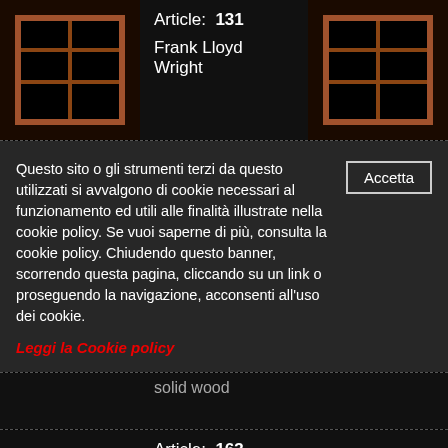[Figure (photo): Wooden bookshelf unit - left image]
Article: 131
Frank Lloyd Wright
[Figure (photo): Wooden bookshelf unit - right image]
Questo sito o gli strumenti terzi da questo utilizzati si avvalgono di cookie necessari al funzionamento ed utili alle finalità illustrate nella cookie policy. Se vuoi saperne di più, consulta la cookie policy. Chiudendo questo banner, scorrendo questa pagina, cliccando su un link o proseguendo la navigazione, acconsenti all'uso dei cookie.
Accetta
Leggi la Cookie policy
solid wood
[Figure (photo): Ornate armchair with zebra print upholstery and carved wooden frame]
Article: 163
Anonymous
Armchair with upholstered cushions, massive wooden frame
[Figure (photo): White tulip chair with red cushion]
Article: 220-STOOL-A
Eero Saarinen
[Figure (photo): Red stool]